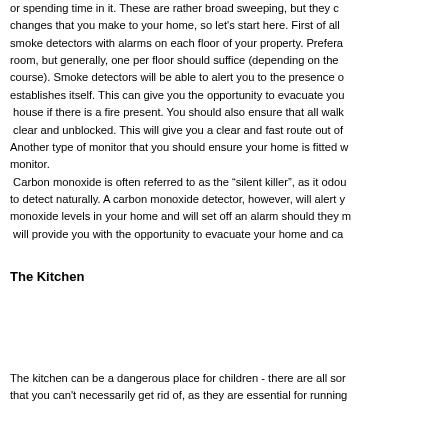or spending time in it. These are rather broad sweeping, but they cover changes that you make to your home, so let's start here. First of all, smoke detectors with alarms on each floor of your property. Preferably each room, but generally, one per floor should suffice (depending on the course). Smoke detectors will be able to alert you to the presence of establishes itself. This can give you the opportunity to evacuate your house if there is a fire present. You should also ensure that all walkways clear and unblocked. This will give you a clear and fast route out of Another type of monitor that you should ensure your home is fitted with monitor. Carbon monoxide is often referred to as the "silent killer", as it odourless to detect naturally. A carbon monoxide detector, however, will alert you monoxide levels in your home and will set off an alarm should they rise will provide you with the opportunity to evacuate your home and call
The Kitchen
The kitchen can be a dangerous place for children - there are all sorts that you can't necessarily get rid of, as they are essential for running